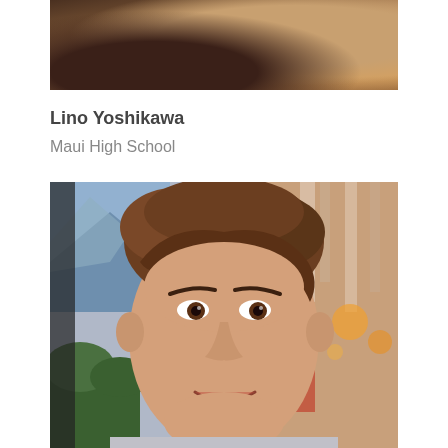[Figure (photo): Partial photo of a person, cropped showing top portion, warm brown tones]
Lino Yoshikawa
Maui High School
[Figure (photo): Portrait photo of a young male student with brown hair, smiling, taken at a restaurant or outdoor setting]